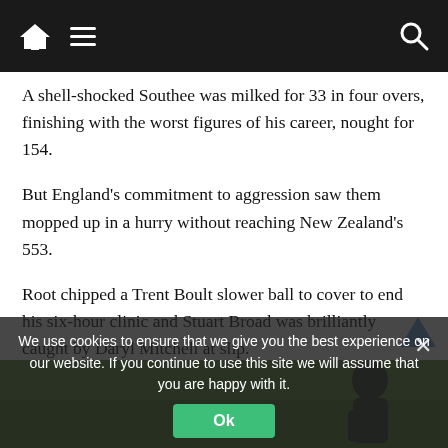Navigation bar with home, menu, and search icons
A shell-shocked Southee was milked for 33 in four overs, finishing with the worst figures of his career, nought for 154.
But England's commitment to aggression saw them mopped up in a hurry without reaching New Zealand's 553.
Root chipped a Trent Boult slower ball to cover to end his six-hour clinic and Stuart Broad was brilliantly caught by Daryl Mitchell at slip.
Matthew Potts then ran Foakes out for 56 before being castled by a Boult yorker to bring up his five-for.
[Figure (photo): Cricket match photo with players on green field, partially obscured by cookie consent overlay]
We use cookies to ensure that we give you the best experience on our website. If you continue to use this site we will assume that you are happy with it.